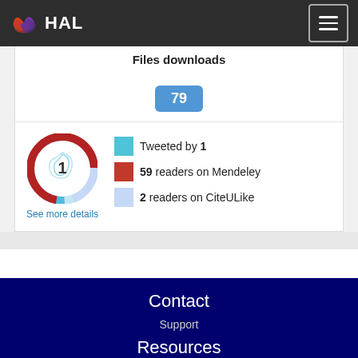HAL
Files downloads
79
[Figure (donut-chart): Altmetric donut chart showing score of 1, with color segments for Twitter (blue), Mendeley (red), and CiteULike (light blue)]
Tweeted by 1
59 readers on Mendeley
2 readers on CiteULike
See more details
Contact
Support
Resources